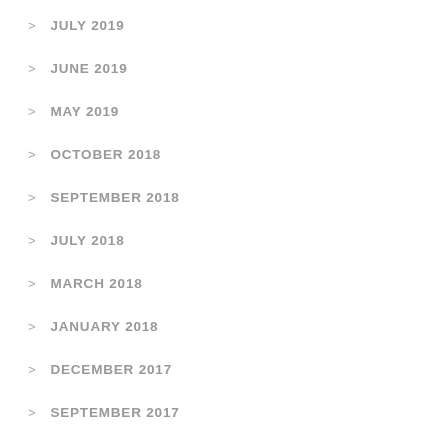JULY 2019
JUNE 2019
MAY 2019
OCTOBER 2018
SEPTEMBER 2018
JULY 2018
MARCH 2018
JANUARY 2018
DECEMBER 2017
SEPTEMBER 2017